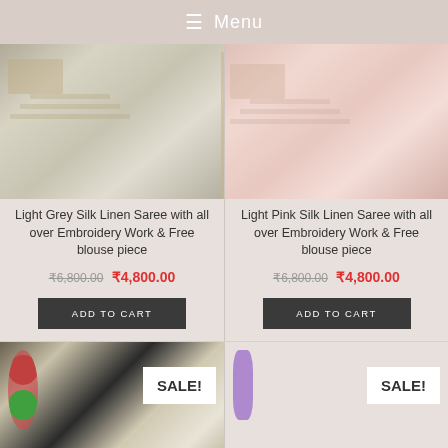Menu
[Figure (photo): Light grey silk linen saree fabric with embroidery work close-up]
Light Grey Silk Linen Saree with all over Embroidery Work & Free blouse piece
₹6,800.00 ₹4,800.00
ADD TO CART
[Figure (photo): Light pink silk linen saree fabric with embroidery work close-up]
Light Pink Silk Linen Saree with all over Embroidery Work & Free blouse piece
₹6,800.00 ₹4,800.00
ADD TO CART
[Figure (photo): Cream/beige silk linen saree with SALE badge]
[Figure (photo): Blue silk linen saree with SALE badge]